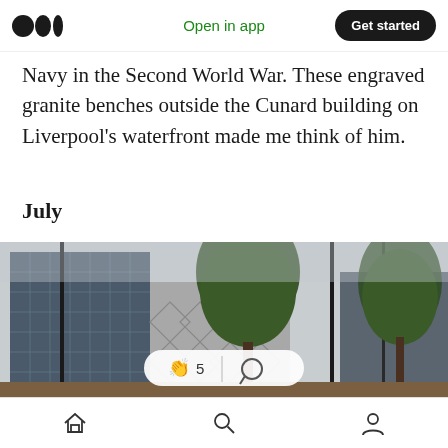Medium logo | Open in app | Get started
Navy in the Second World War. These engraved granite benches outside the Cunard building on Liverpool's waterfront made me think of him.
July
[Figure (photo): Photograph of modern city buildings with glass facades and a geometric diamond-patterned facade, with tall trees in the foreground against an overcast sky. Liverpool waterfront area.]
Home | Search | Profile navigation icons